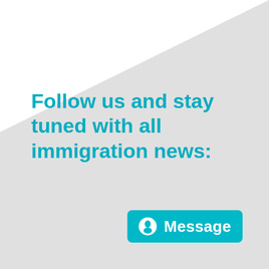[Figure (illustration): Light grey diagonal background shape covering most of the page, with white triangle in upper-left corner]
Follow us and stay tuned with all immigration news:
[Figure (other): Teal rounded rectangle button with a white alien/person icon and the text 'Message' in white bold font]